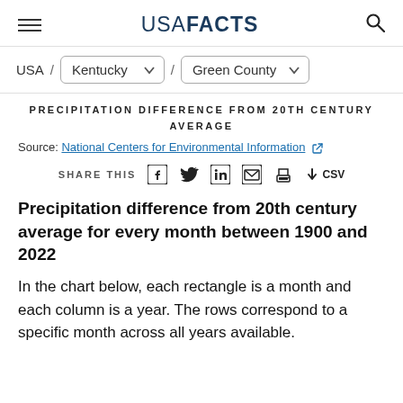USA FACTS
USA / Kentucky / Green County
PRECIPITATION DIFFERENCE FROM 20TH CENTURY AVERAGE
Source: National Centers for Environmental Information
SHARE THIS [Facebook] [Twitter] [LinkedIn] [Email] [Print] [↓CSV]
Precipitation difference from 20th century average for every month between 1900 and 2022
In the chart below, each rectangle is a month and each column is a year. The rows correspond to a specific month across all years available.